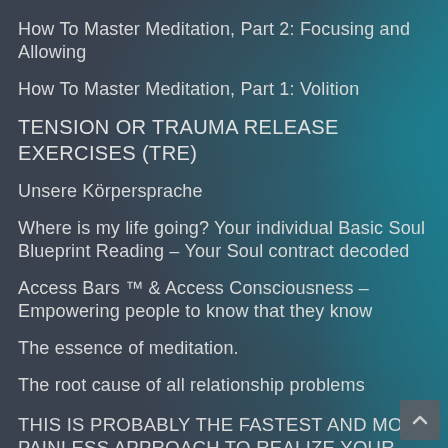How To Master Meditation, Part 2: Focusing and Allowing
How To Master Meditation, Part 1: Volition
TENSION OR TRAUMA RELEASE EXERCISES (TRE)
Unsere Körpersprache
Where is my life going? Your individual Basic Soul Blueprint Reading – Your Soul contract decoded
Access Bars ™ & Access Consciousness – Empowering people to know that they know
The essence of meditation.
The root cause of all relationship problems
THIS IS PROBABLY THE FASTEST AND MOST PAINLESS APPROACH TO REALIZE YOUR TRUE SELF, WHEN YOU ARE READY FOR IT.